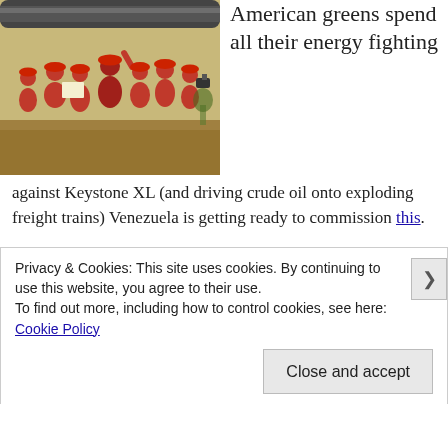[Figure (photo): Group of workers in red hard hats and red uniforms gathered outdoors near a large pipeline, one person pointing or speaking to the group.]
American greens spend all their energy fighting against Keystone XL (and driving crude oil onto exploding freight trains) Venezuela is getting ready to commission this.
This is a 153-km, 42″ oil pipeline with a capacity of 750,000 barrels a day of high-sulfur, high-carbon, processing-intensive oil. It will one day take oil from Venezuela’s quiet, biodiverse Orinoco Belt to the largely pristine Caribbean coast. There
Privacy & Cookies: This site uses cookies. By continuing to use this website, you agree to their use.
To find out more, including how to control cookies, see here: Cookie Policy
Close and accept